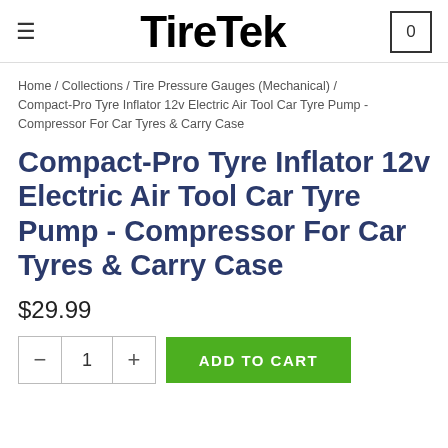TireTek
Home / Collections / Tire Pressure Gauges (Mechanical) / Compact-Pro Tyre Inflator 12v Electric Air Tool Car Tyre Pump - Compressor For Car Tyres & Carry Case
Compact-Pro Tyre Inflator 12v Electric Air Tool Car Tyre Pump - Compressor For Car Tyres & Carry Case
$29.99
1  ADD TO CART